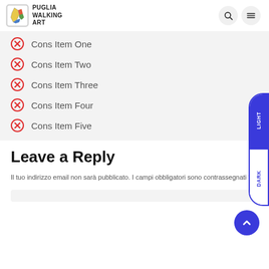Puglia Walking Art
Cons Item One
Cons Item Two
Cons Item Three
Cons Item Four
Cons Item Five
Leave a Reply
Il tuo indirizzo email non sarà pubblicato. I campi obbligatori sono contrassegnati *